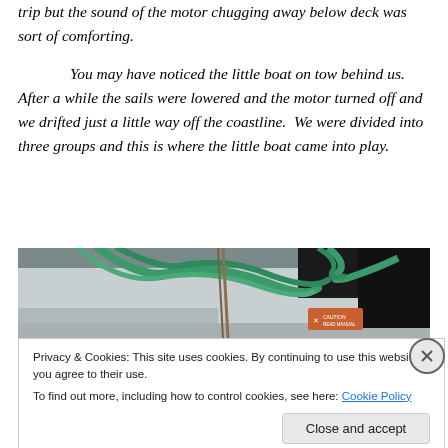trip but the sound of the motor chugging away below deck was sort of comforting.
You may have noticed the little boat on tow behind us. After a while the sails were lowered and the motor turned off and we drifted just a little way off the coastline. We were divided into three groups and this is where the little boat came into play.
[Figure (photo): Close-up photo of a boat hull with green ropes and a small orange label/sticker, taken from deck level]
Privacy & Cookies: This site uses cookies. By continuing to use this website, you agree to their use.
To find out more, including how to control cookies, see here: Cookie Policy
Close and accept